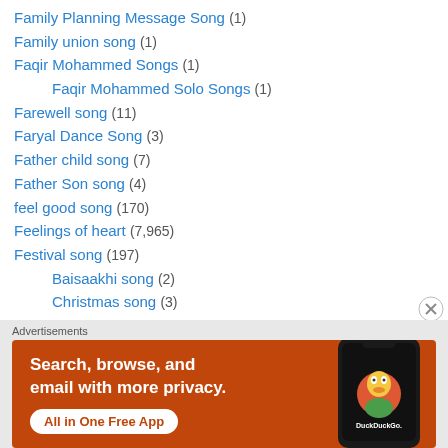Family Planning Message Song (1)
Family union song (1)
Faqir Mohammed Songs (1)
Faqir Mohammed Solo Songs (1)
Farewell song (11)
Faryal Dance Song (3)
Father child song (7)
Father Son song (4)
feel good song (170)
Feelings of heart (7,965)
Festival song (197)
Baisaakhi song (2)
Christmas song (3)
Deewaali song (38)
[Figure (screenshot): DuckDuckGo advertisement banner: orange background with white text 'Search, browse, and email with more privacy. All in One Free App' and a phone mockup showing the DuckDuckGo app.]